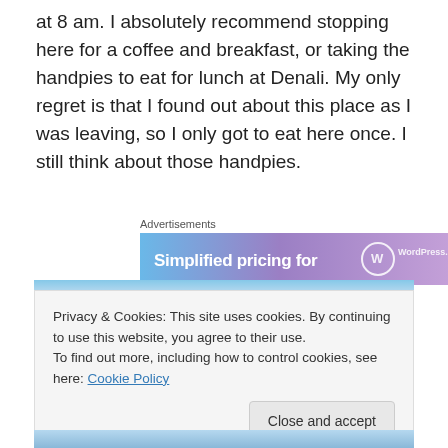at 8 am. I absolutely recommend stopping here for a coffee and breakfast, or taking the handpies to eat for lunch at Denali. My only regret is that I found out about this place as I was leaving, so I only got to eat here once. I still think about those handpies.
Advertisements
[Figure (screenshot): Advertisement banner showing 'Simplified pricing for' text with WordPress.com logo on a blue-purple gradient background]
[Figure (photo): Blue sky with clouds, partial image at top of cookie notice area]
Privacy & Cookies: This site uses cookies. By continuing to use this website, you agree to their use.
To find out more, including how to control cookies, see here: Cookie Policy
Close and accept